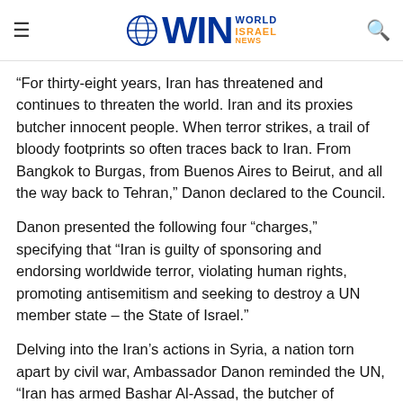WIN World Israel News
“For thirty-eight years, Iran has threatened and continues to threaten the world. Iran and its proxies butcher innocent people. When terror strikes, a trail of bloody footprints so often traces back to Iran. From Bangkok to Burgas, from Buenos Aires to Beirut, and all the way back to Tehran,” Danon declared to the Council.
Danon presented the following four “charges,” specifying that “Iran is guilty of sponsoring and endorsing worldwide terror, violating human rights, promoting antisemitism and seeking to destroy a UN member state – the State of Israel.”
Delving into the Iran’s actions in Syria, a nation torn apart by civil war, Ambassador Danon reminded the UN, “Iran has armed Bashar Al-Assad, the butcher of Damascus. Without Iranian support, the Assad regime would have fallen in its civil wr in its own city on a rebel.”